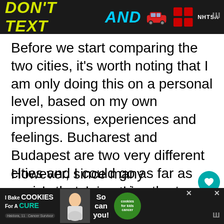[Figure (screenshot): Advertisement banner at top: dark background with yellow text 'DON'T TEXT AND' in bold italic, cyan highlighted 'AND', red car graphic, NHTSA logo with dot grid pattern]
Before we start comparing the two cities, it's worth noting that I am only doing this on a personal level, based on my own impressions, experiences and feelings. Bucharest and Budapest are two very different cities and I could go as far as saying that comparing the two is like comparing apples and pears.
However, since many people are doing this already (or simply mistake one city for another) I am sharing my opinions as we...
[Figure (screenshot): Advertisement banner at bottom: dark background with cookie-related charity fundraiser ad 'I Bake COOKIES For A CURE - So can you!' with photo of young girl and cookies for kids cancer logo]